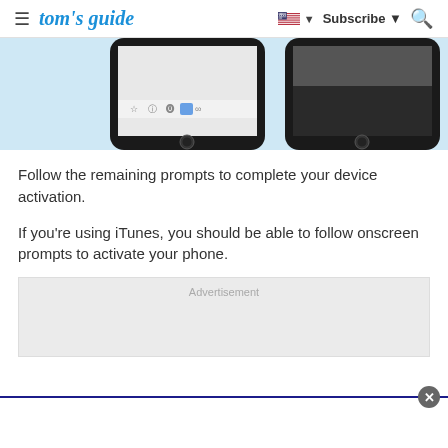tom's guide | Subscribe | Search
[Figure (screenshot): Two iPhone devices side by side on a light blue background showing browser and black screen states]
Follow the remaining prompts to complete your device activation.
If you're using iTunes, you should be able to follow onscreen prompts to activate your phone.
Advertisement